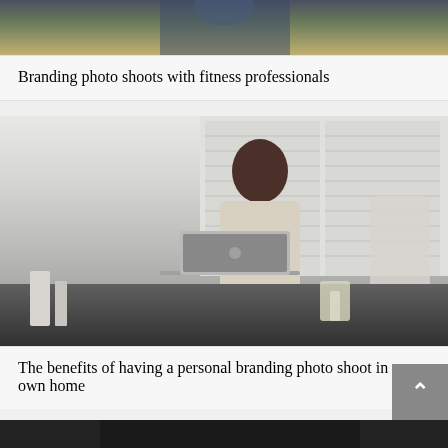[Figure (photo): Cropped photo of a fitness professional, showing partial upper body against an outdoor background with tall grasses]
Branding photo shoots with fitness professionals
[Figure (photo): Woman with dark hair sitting at a dark desk working on a silver MacBook laptop, in a bright white room with shuttered windows in the background]
The benefits of having a personal branding photo shoot in your own home
[Figure (photo): Partial photo showing a dark background, beginning of a third article card at the bottom of the page]